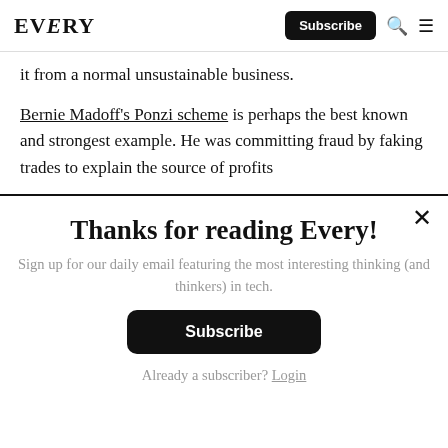EVERY | Subscribe
it from a normal unsustainable business.
Bernie Madoff's Ponzi scheme is perhaps the best known and strongest example. He was committing fraud by faking trades to explain the source of profits
Thanks for reading Every!
Sign up for our daily email featuring the most interesting thinking (and thinkers) in tech.
Subscribe
Already a subscriber? Login